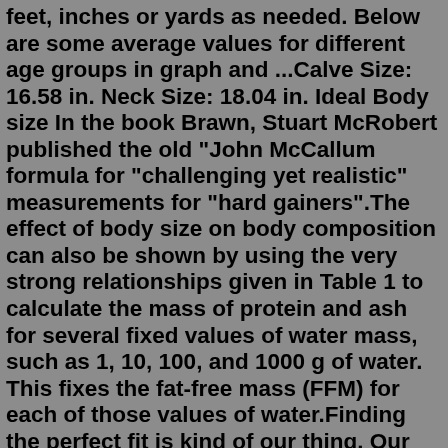feet, inches or yards as needed. Below are some average values for different age groups in graph and ...Calve Size: 16.58 in. Neck Size: 18.04 in. Ideal Body size In the book Brawn, Stuart McRobert published the old "John McCallum formula for "challenging yet realistic" measurements for "hard gainers".The effect of body size on body composition can also be shown by using the very strong relationships given in Table 1 to calculate the mass of protein and ash for several fixed values of water mass, such as 1, 10, 100, and 1000 g of water. This fixes the fat-free mass (FFM) for each of those values of water.Finding the perfect fit is kind of our thing. Our stylists are standing by and ready to help you find what you love. Take your style quiz and schedule a Fix. Just sit back and relax. We'll send five pieces, handpicked just for you, to try on in the comfort of your own home. Buy what you love, send back the rest.The largest increase was seen among the offensive linemen, with an overall increase of 14.20 lb (6.4 kg) per decade. Rates of increase were also high for defensive ends, defensive